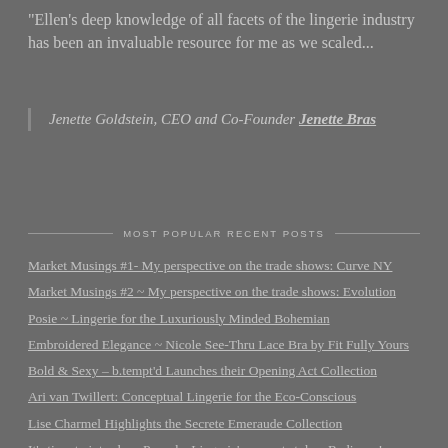"Ellen's deep knowledge of all facets of the lingerie industry has been an invaluable resource for me as we scaled...
Jenette Goldstein, CEO and Co-Founder Jenette Bras
MOST POPULAR RECENT POSTS
Market Musings #1- My perspective on the trade shows: Curve NY
Market Musings #2 ~ My perspective on the trade shows: Evolution
Posie ~ Lingerie for the Luxuriously Minded Bohemian
Embroidered Elegance ~ Nicole See-Thru Lace Bra by Fit Fully Yours
Bold & Sexy – b.tempt'd Launches their Opening Act Collection
Ari van Twillert: Conceptual Lingerie for the Eco-Conscious
Lise Charmel Highlights the Secrete Emeraude Collection
It's time to introduce Panache Lingerie's newest style – Radiance!